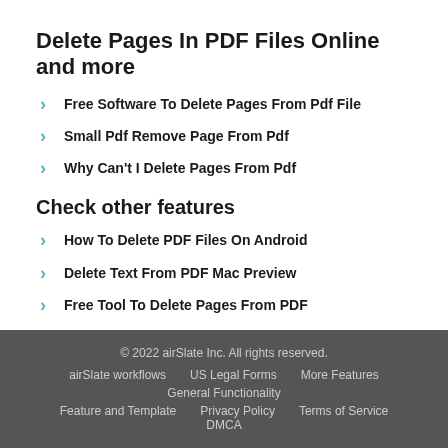Delete Pages In PDF Files Online and more
Free Software To Delete Pages From Pdf File
Small Pdf Remove Page From Pdf
Why Can't I Delete Pages From Pdf
Check other features
How To Delete PDF Files On Android
Delete Text From PDF Mac Preview
Free Tool To Delete Pages From PDF
© 2022 airSlate Inc. All rights reserved. airSlate workflows US Legal Forms More Features General Functionality Feature and Template Privacy Policy Terms of Service DMCA